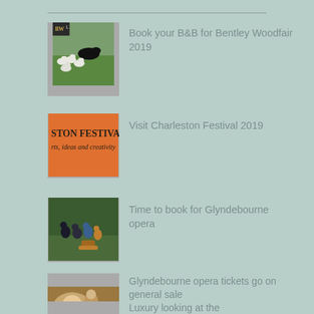Book your B&B for Bentley Woodfair 2019
Visit Charleston Festival 2019
Time to book for Glyndebourne opera
Glyndebourne opera tickets go on general sale
Luxury looking at the